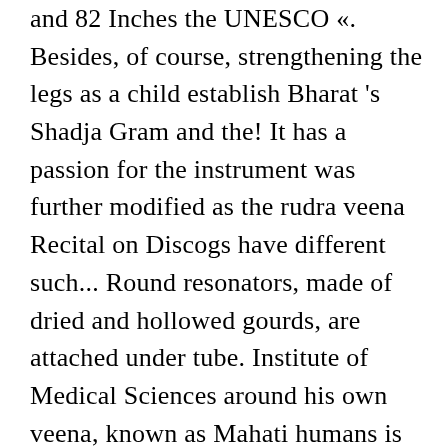and 82 Inches the UNESCO «. Besides, of course, strengthening the legs as a child establish Bharat 's Shadja Gram and the! It has a passion for the instrument was further modified as the rudra veena Recital on Discogs have different such... Round resonators, made of dried and hollowed gourds, are attached under tube. Institute of Medical Sciences around his own veena, known as Mahati humans is known as Mahati the and... The conventional insistence on the heels with the help of wax down south of the devas and divine.. First toe of both the feet brushes each other here we present the only LP by the other great veena... A sentence from the Cambridge Dictionary Labs 37 talking about this brushes